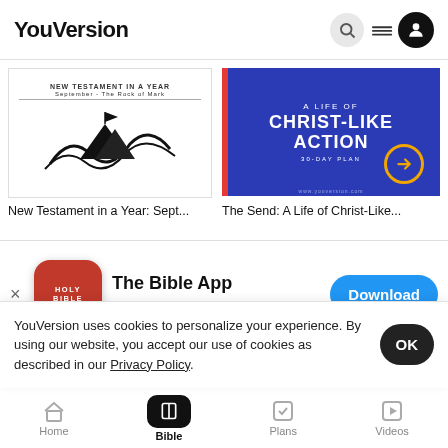YouVersion
[Figure (screenshot): New Testament in a Year: September - The Rock of Mark book cover with black and white illustration of waves]
New Testament in a Year: Sept...
[Figure (screenshot): A Life of Christ-Like Action 30-day plan blue banner with yellow arrow circle]
The Send: A Life of Christ-Like...
[Figure (screenshot): Walk Through plan cover image with teal WALK text on tan/brown background]
Walk Thr...
The Bible App
★★★★★ 7.9M
Download
YouVersion uses cookies to personalize your experience. By using our website, you accept our use of cookies as described in our Privacy Policy.
Home  Bible  Plans  Videos